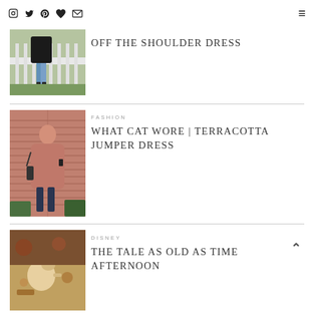Social icons (Instagram, Twitter, Pinterest, Bloglovin, Email) and hamburger menu
[Figure (photo): Photo of person's lower body standing on a white wooden deck railing, wearing blue jeans and black ankle boots, with greenery in background]
OFF THE SHOULDER DRESS
FASHION
[Figure (photo): Photo of a woman in a pink/terracotta oversized jumper dress standing against a brick wall, looking at her phone, with potted plants around]
WHAT CAT WORE | TERRACOTTA JUMPER DRESS
DISNEY
[Figure (photo): Photo of Disney themed tea party table setting with teapot figurines and food]
THE TALE AS OLD AS TIME AFTERNOON